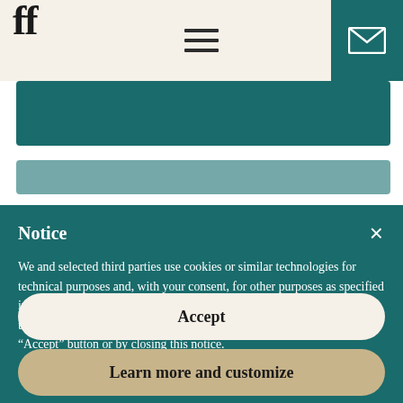ff [logo] | hamburger menu | mail icon
Notice
We and selected third parties use cookies or similar technologies for technical purposes and, with your consent, for other purposes as specified in the cookie policy. Denying consent may make related features unavailable. You can consent to the use of such technologies by using the “Accept” button or by closing this notice.
Accept
Learn more and customize